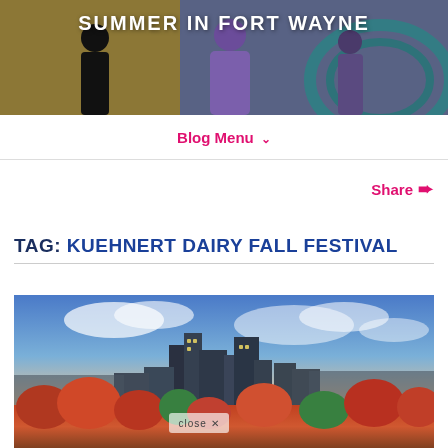[Figure (photo): Header banner with colorful mural background and people silhouettes, showing 'SUMMER IN FORT WAYNE' text]
SUMMER IN FORT WAYNE
Blog Menu ∨
Share ➦
TAG: KUEHNERT DAIRY FALL FESTIVAL
[Figure (photo): Aerial city skyline photo of Fort Wayne with autumn foliage in foreground and dramatic sky, with 'close X' overlay button]